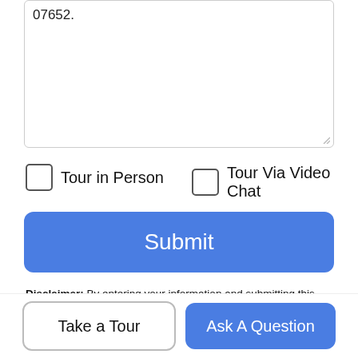07652.
Tour in Person
Tour Via Video Chat
Submit
Disclaimer: By entering your information and submitting this form, you agree to our Terms of Use and Privacy Policy and that you may be contacted by phone, text message and email about your inquiry.
[Figure (logo): NJMLS Internet Data Exchange logo]
© 2022 New Jersey Multiple Listing Service. All rights reserved. IDX information is provided exclusively for consumers' personal
Take a Tour
Ask A Question